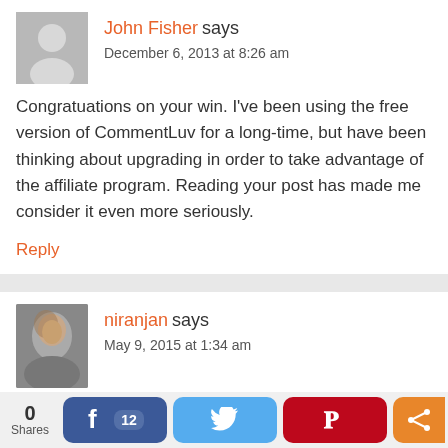John Fisher says
December 6, 2013 at 8:26 am
Congratuations on your win. I've been using the free version of CommentLuv for a long-time, but have been thinking about upgrading in order to take advantage of the affiliate program. Reading your post has made me consider it even more seriously.
Reply
niranjan says
May 9, 2015 at 1:34 am
I like comment Luv
Reply
0 Shares